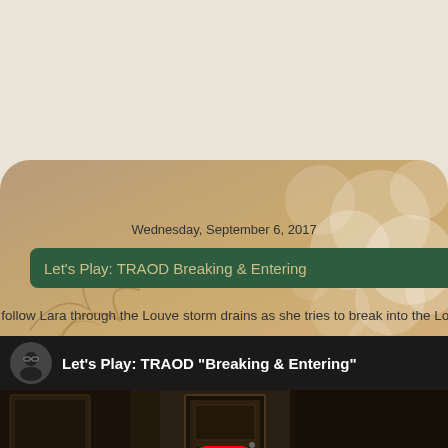Wednesday, September 6, 2017
Let's Play: TRAOD Breaking & Entering
e follow Lara through the Louve storm drains as she tries to break into the Lou
[Figure (screenshot): YouTube video embed showing 'Let's Play: TRAOD "Breaking & Entering"' with a user avatar, video title, and a red play button over a dark game screenshot showing a corridor/door scene.]